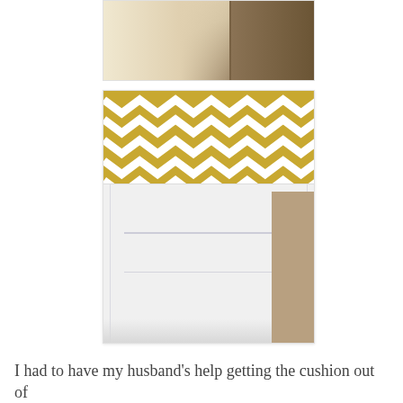[Figure (photo): Top portion of a photo showing the corner of a sofa/cushion area with a light-colored fabric on the left and dark brown carpet on the right]
[Figure (photo): Photo of a white pillow cushion insert lying on brown carpet, with a yellow and white chevron patterned pillow cover/fabric visible at the top]
I had to have my husband's help getting the cushion out of